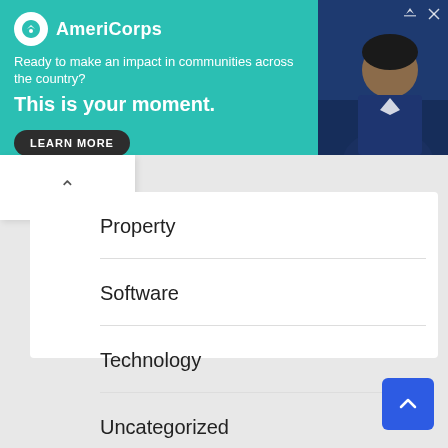[Figure (screenshot): AmeriCorps advertisement banner with teal background. Logo with circular icon and 'AmeriCorps' text. Tagline: 'Ready to make an impact in communities across the country?' Headline: 'This is your moment.' with a 'LEARN MORE' button. Right side shows a partial photo of a person.]
Property
Software
Technology
Uncategorized
Web development